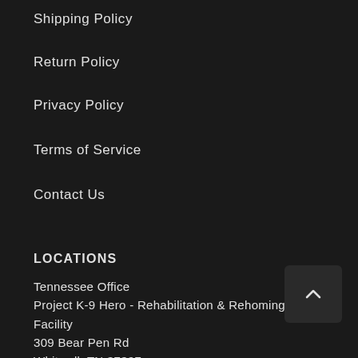Shipping Policy
Return Policy
Privacy Policy
Terms of Service
Contact Us
LOCATIONS
Tennessee Office
Project K-9 Hero - Rehabilitation & Rehoming Facility
309 Bear Pen Rd
Whitwell, TN 37397